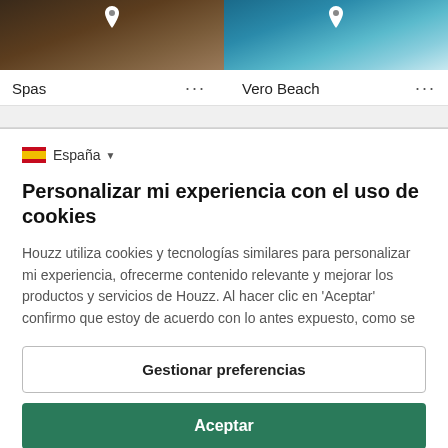[Figure (screenshot): Top portion of a Houzz website showing two category image tiles: 'Spas' on the left (dark wood furniture) and 'Vero Beach' on the right (blue pool/water), each with a location pin icon and a three-dot menu icon.]
Spas
Vero Beach
España
Personalizar mi experiencia con el uso de cookies
Houzz utiliza cookies y tecnologías similares para personalizar mi experiencia, ofrecerme contenido relevante y mejorar los productos y servicios de Houzz. Al hacer clic en 'Aceptar' confirmo que estoy de acuerdo con lo antes expuesto, como se
Gestionar preferencias
Aceptar